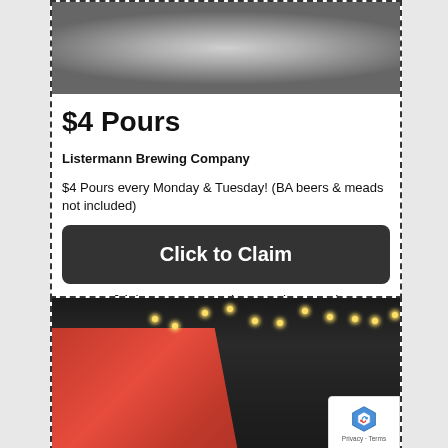[Figure (photo): Close-up photo of stainless steel brewing equipment (tank or kettle), partially cropped at top]
$4 Pours
Listermann Brewing Company
$4 Pours every Monday & Tuesday! (BA beers & meads not included)
Click to Claim
Valid Every Monday and Tuesday
[Figure (photo): Interior photo of a bar/brewery with red mural featuring a cartoon figure, string lights hanging from ceiling, dark industrial decor, tables and chairs visible]